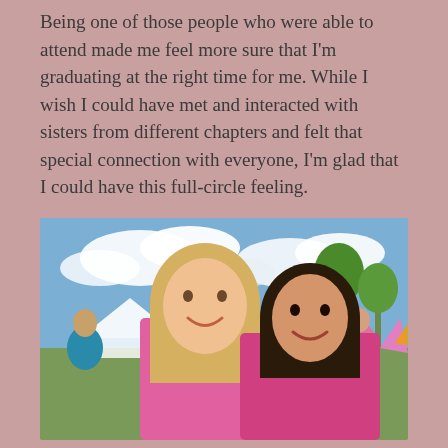Being one of those people who were able to attend made me feel more sure that I'm graduating at the right time for me. While I wish I could have met and interacted with sisters from different chapters and felt that special connection with everyone, I'm glad that I could have this full-circle feeling.
[Figure (photo): Two young women smiling outdoors at what appears to be a sorority or campus event. One has blonde hair wearing a pink top, the other has dark hair wearing a pink top. Background shows trees, white tents, and other people in blue and pink clothing on a sunny day.]